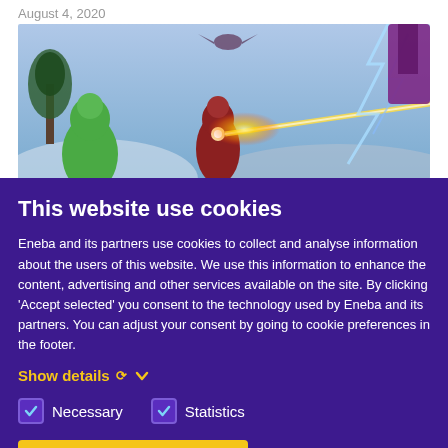August 4, 2020
[Figure (photo): Screenshot from a video game showing superhero characters including the Hulk and Iron Man in a battle scene with energy blasts]
This website use cookies
Eneba and its partners use cookies to collect and analyse information about the users of this website. We use this information to enhance the content, advertising and other services available on the site. By clicking ‘Accept selected’ you consent to the technology used by Eneba and its partners. You can adjust your consent by going to cookie preferences in the footer.
Show details ∨
✓ Necessary
✓ Statistics
Accept selected